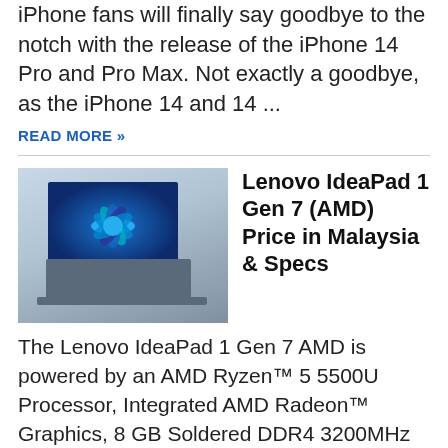iPhone fans will finally say goodbye to the notch with the release of the iPhone 14 Pro and Pro Max. Not exactly a goodbye, as the iPhone 14 and 14 ...
READ MORE »
[Figure (photo): Lenovo IdeaPad laptop with Windows 11 wallpaper open on its screen]
Lenovo IdeaPad 1 Gen 7 (AMD) Price in Malaysia & Specs
The Lenovo IdeaPad 1 Gen 7 AMD is powered by an AMD Ryzen™ 5 5500U Processor, Integrated AMD Radeon™ Graphics, 8 GB Soldered DDR4 3200MHz RAM and a 256 GB ...
READ MORE »
[Figure (photo): AniManGaki 2022 promotional banner with pirate-themed cartoon characters]
AniManGaki 2022: RandoWis and Emirichu on Making Art for a Digital Age